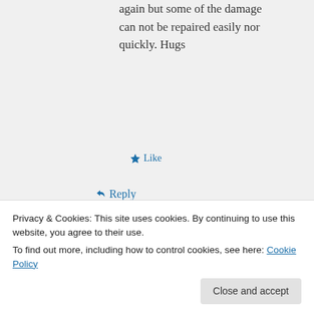again but some of the damage can not be repaired easily nor quickly. Hugs
★ Like
↳ Reply
makagutu on January 23, 2019 at 17:04
Privacy & Cookies: This site uses cookies. By continuing to use this website, you agree to their use.
To find out more, including how to control cookies, see here: Cookie Policy